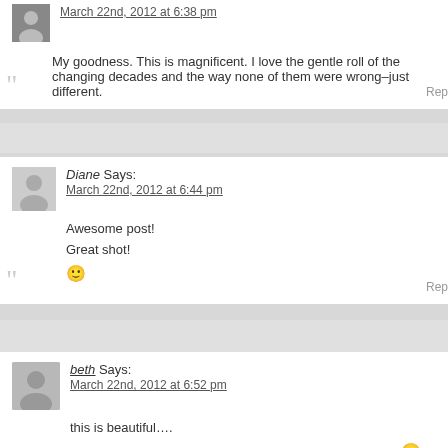March 22nd, 2012 at 6:38 pm
My goodness. This is magnificent. I love the gentle roll of the changing decades and the way none of them were wrong–just different.
Diane Says: March 22nd, 2012 at 6:44 pm
Awesome post!
Great shot!
🙂
beth Says: March 22nd, 2012 at 6:52 pm
this is beautiful….
but i also think you belong to the tribe known as bloggers 🙂
xoxo